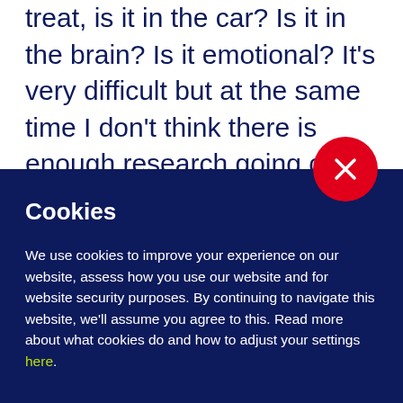treat, is it in the car? Is it in the brain? Is it emotional? It's very difficult but at the same time I don't think there is enough research going on. But what I can
[Figure (other): Red circular close/dismiss button with white X icon, overlapping the boundary between the white top section and dark navy bottom section]
Cookies
We use cookies to improve your experience on our website, assess how you use our website and for website security purposes. By continuing to navigate this website, we'll assume you agree to this. Read more about what cookies do and how to adjust your settings here.